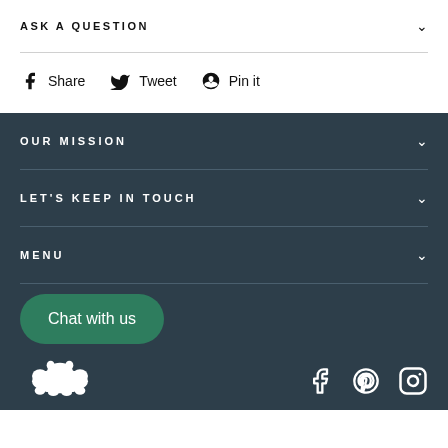ASK A QUESTION
Share  Tweet  Pin it
OUR MISSION
LET'S KEEP IN TOUCH
MENU
Chat with us
[Figure (logo): Bear silhouette logo in white]
Facebook, Pinterest, Instagram social icons